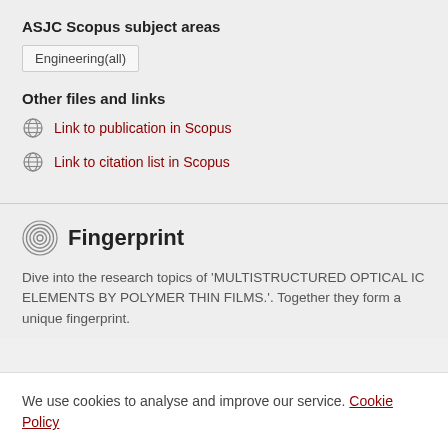ASJC Scopus subject areas
Engineering(all)
Other files and links
Link to publication in Scopus
Link to citation list in Scopus
Fingerprint
Dive into the research topics of 'MULTISTRUCTURED OPTICAL IC ELEMENTS BY POLYMER THIN FILMS.'. Together they form a unique fingerprint.
We use cookies to analyse and improve our service. Cookie Policy